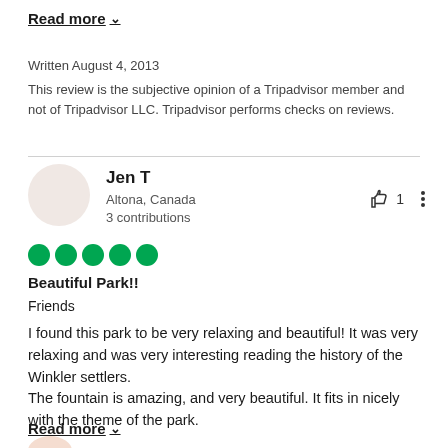Read more ∨
Written August 4, 2013
This review is the subjective opinion of a Tripadvisor member and not of Tripadvisor LLC. Tripadvisor performs checks on reviews.
Jen T
Altona, Canada
3 contributions
[Figure (other): 5 green filled circles representing a 5-star rating]
Beautiful Park!!
Friends
I found this park to be very relaxing and beautiful! It was very relaxing and was very interesting reading the history of the Winkler settlers.
The fountain is amazing, and very beautiful. It fits in nicely with the theme of the park.
Read more ∨